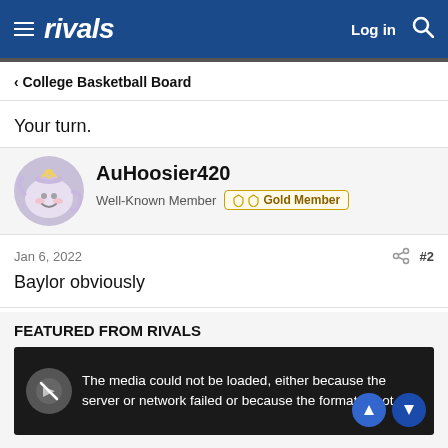rivals | Log in
< College Basketball Board
Your turn.
[Figure (illustration): User avatar for AuHoosier420 - animated teapot character]
AuHoosier420
Well-Known Member  Gold Member
Jan 6, 2022  #2
Baylor obviously
FEATURED FROM RIVALS
The media could not be loaded, either because the server or network failed or because the format is not